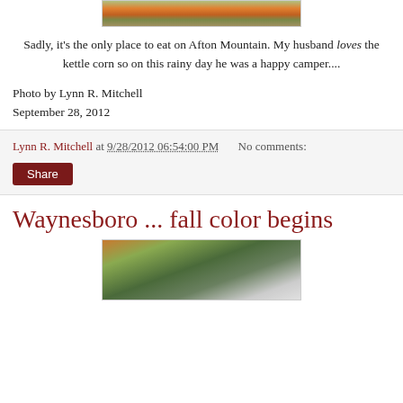[Figure (photo): Pumpkins and fall flowers on hay bales, cropped top portion visible]
Sadly, it's the only place to eat on Afton Mountain. My husband loves the kettle corn so on this rainy day he was a happy camper....
Photo by Lynn R. Mitchell
September 28, 2012
Lynn R. Mitchell at 9/28/2012 06:54:00 PM   No comments:
Share
Waynesboro ... fall color begins
[Figure (photo): Fall foliage with trees showing autumn colors against an overcast sky]